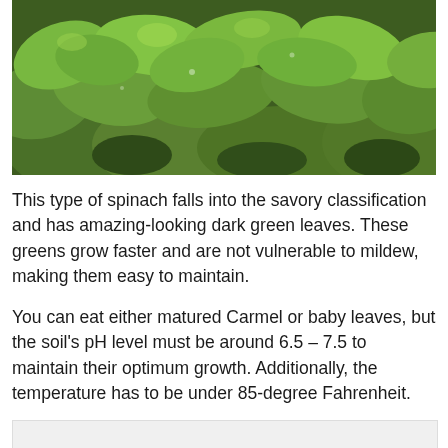[Figure (photo): Close-up photograph of dark green spinach leaves, densely packed, showing round leaf shapes with visible texture and water droplets.]
This type of spinach falls into the savory classification and has amazing-looking dark green leaves. These greens grow faster and are not vulnerable to mildew, making them easy to maintain.
You can eat either matured Carmel or baby leaves, but the soil’s pH level must be around 6.5 – 7.5 to maintain their optimum growth. Additionally, the temperature has to be under 85-degree Fahrenheit.